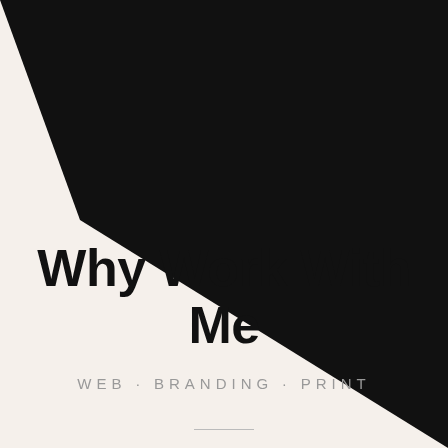[Figure (illustration): Large black diagonal shape covering the top-right portion of the page, creating a bold geometric design element against a cream/off-white background.]
Why Work With Me
WEB · BRANDING · PRINT